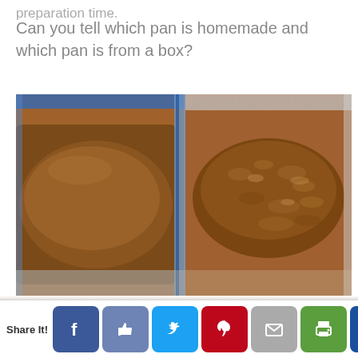preparation time.
Can you tell which pan is homemade and which pan is from a box?
[Figure (photo): Two glass baking pans side by side, each containing a baked chocolate brownie or cake. The left pan has a smooth, risen top; the right pan (aluminum foil-type) has a crinkled, shinier surface.]
Share It! [Facebook] [Like] [Twitter] [Pinterest] [Email] [Print] [Crown]